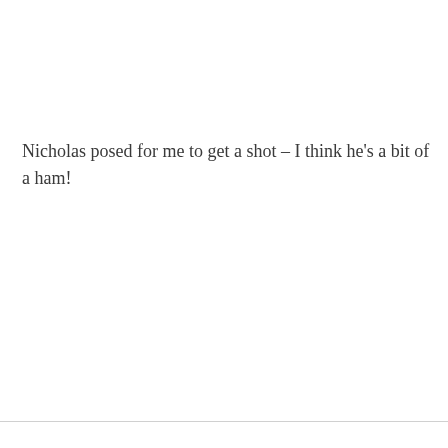Nicholas posed for me to get a shot – I think he's a bit of a ham!